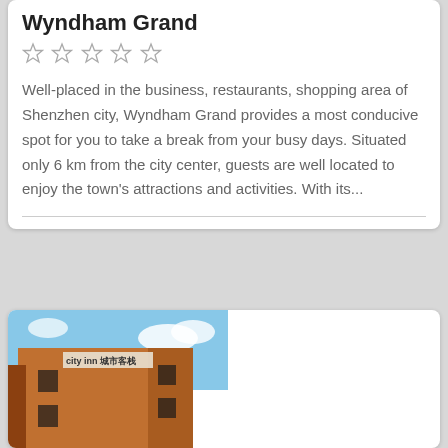Wyndham Grand
[Figure (other): Five empty star rating icons]
Well-placed in the business, restaurants, shopping area of Shenzhen city, Wyndham Grand provides a most conducive spot for you to take a break from your busy days. Situated only 6 km from the city center, guests are well located to enjoy the town's attractions and activities. With its...
[Figure (photo): Exterior photo of a hotel building with orange/red brick facade and a sign reading 'city inn' in Chinese characters, against a blue sky with clouds.]